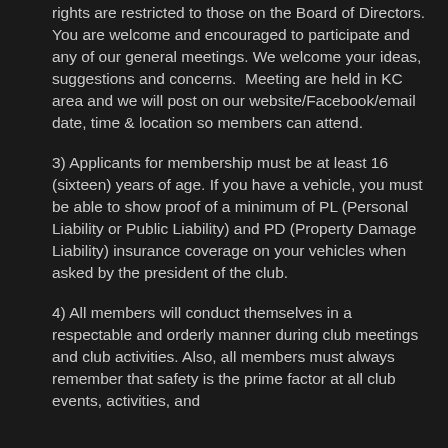rights are restricted to those on the Board of Directors. You are welcome and encouraged to participate and any of our general meetings. We welcome your ideas, suggestions and concerns.  Meeting are held in KC area and we will post on our website/Facebook/email date, time & location so members can attend.
3) Applicants for membership must be at least 16 (sixteen) years of age. If you have a vehicle, you must be able to show proof of a minimum of PL (Personal Liability or Public Liability) and PD (Property Damage Liability) insurance coverage on your vehicles when asked by the president of the club.
4) All members will conduct themselves in a respectable and orderly manner during club meetings and club activities. Also, all members must always remember that safety is the prime factor at all club events, activities, and